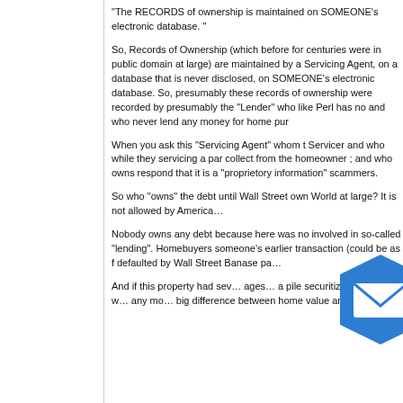“The RECORDS of ownership is maintained on SOMEONE’s electronic database. “
So, Records of Ownership (which before for centuries were in public domain at large) are maintained by a Servicing Agent, on a database that is never disclosed, on SOMEONE’s electronic database. So, presumably these records of ownership were recorded by presumably the “Lender” who like Perl has no connection with real lending and who never lend any money for home purchases?
When you ask this “Servicing Agent” whom they are — who is this Servicer and who while they servicing a particular loan — who do they collect from the homeowner ; and who owns the debt, they would respond that it is a “proprietory information” — which is a language of scammers.
So who “owns” the debt until Wall Street owns it from the World at large? It is not allowed by America’s
Nobody owns any debt because here was no real money involved in so-called “lending”. Homebuyers were paid money from someone’s earlier transaction (could be as far back as anyone who defaulted by Wall Street Ban… use pa…
And if this property had sev… ages… a pile securitization levels – w… any mo… big difference between home value and nu…